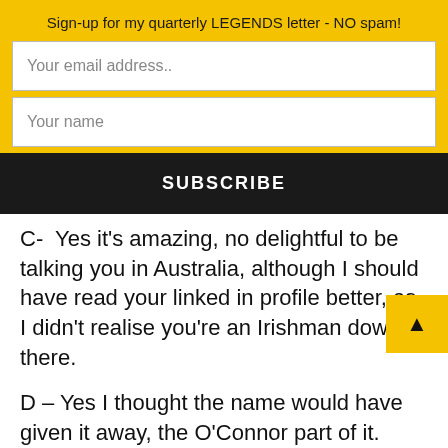Sign-up for my quarterly LEGENDS letter - NO spam!
Your email address..
Your name
SUBSCRIBE
C-  Yes it's amazing, no delightful to be talking you in Australia, although I should have read your linked in profile better, as I didn't realise you're an Irishman down there.
D – Yes I thought the name would have given it away, the O'Connor part of it.
C – So I know the English sent our convicts down to Australia, was it the same for Ireland, or is my